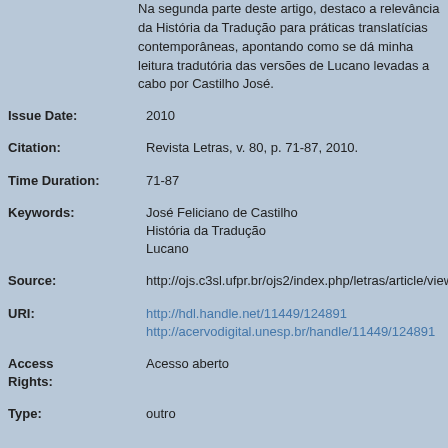Na segunda parte deste artigo, destaco a relevância da História da Tradução para práticas translatícias contemporâneas, apontando como se dá minha leitura tradutória das versões de Lucano levadas a cabo por Castilho José.
Issue Date: 2010
Citation: Revista Letras, v. 80, p. 71-87, 2010.
Time Duration: 71-87
Keywords: José Feliciano de Castilho
História da Tradução
Lucano
Source: http://ojs.c3sl.ufpr.br/ojs2/index.php/letras/article/view/17072
URI: http://hdl.handle.net/11449/124891
http://acervodigital.unesp.br/handle/11449/124891
Access Rights: Acesso aberto
Type: outro